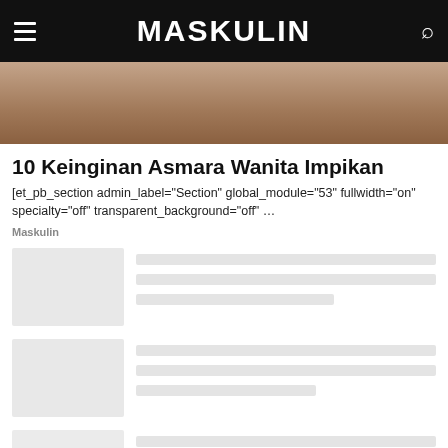MASKULIN
[Figure (photo): Hero image showing a close-up of intertwined human hands/arms, brownish skin tones]
10 Keinginan Asmara Wanita Impikan
[et_pb_section admin_label="Section" global_module="53" fullwidth="on" specialty="off" transparent_background="off" …
Maskulin
[Figure (other): Card placeholder 1 with thumbnail and text lines]
[Figure (other): Card placeholder 2 with thumbnail and text lines]
[Figure (other): Card placeholder 3 with thumbnail and text lines (partial)]